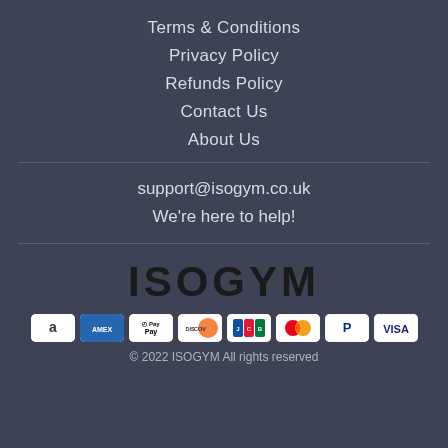Terms & Conditions
Privacy Policy
Refunds Policy
Contact Us
About Us
support@isogym.co.uk
We're here to help!
[Figure (logo): ISOGYM logo in bold black text]
[Figure (infographic): Payment method icons: Amazon Pay, American Express, Apple Pay, Discover, JCB, Mastercard, PayPal, Visa]
© 2022 ISOGYM All rights reserved